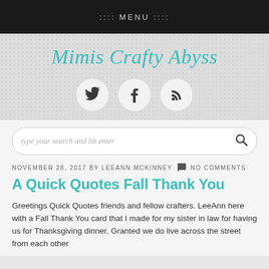:::: MENU ::::
Mimis Crafty Abyss
[Figure (illustration): Three circular social media icons: Twitter bird, Facebook f, and RSS feed symbol]
type your search and hit enter
NOVEMBER 28, 2017 BY LEEANN MCKINNEY  NO COMMENTS
A Quick Quotes Fall Thank You
Greetings Quick Quotes friends and fellow crafters. LeeAnn here with a Fall Thank You card that I made for my sister in law for having us for Thanksgiving dinner. Granted we do live across the street from each other